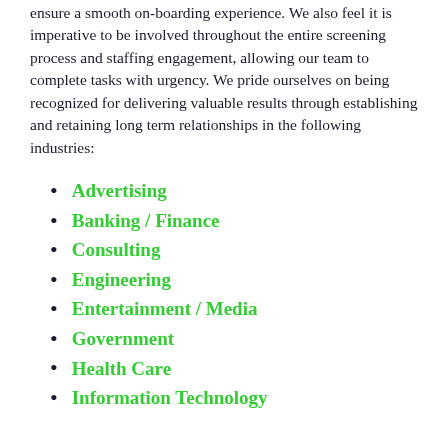ensure a smooth on-boarding experience. We also feel it is imperative to be involved throughout the entire screening process and staffing engagement, allowing our team to complete tasks with urgency. We pride ourselves on being recognized for delivering valuable results through establishing and retaining long term relationships in the following industries:
Advertising
Banking / Finance
Consulting
Engineering
Entertainment / Media
Government
Health Care
Information Technology